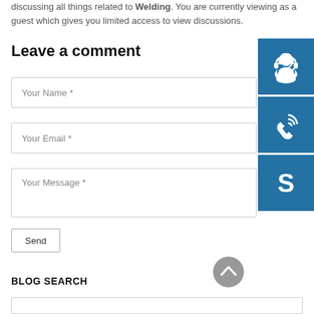discussing all things related to Welding. You are currently viewing as a guest which gives you limited access to view discussions.
Leave a comment
[Figure (illustration): Three blue square icons stacked vertically on the right side: a customer support/headset icon, a phone with signal waves icon, and a Skype logo icon.]
Your Name *
Your Email *
Your Message *
Send
[Figure (illustration): Gray circular scroll-to-top button with an upward-pointing chevron/arrow.]
BLOG SEARCH